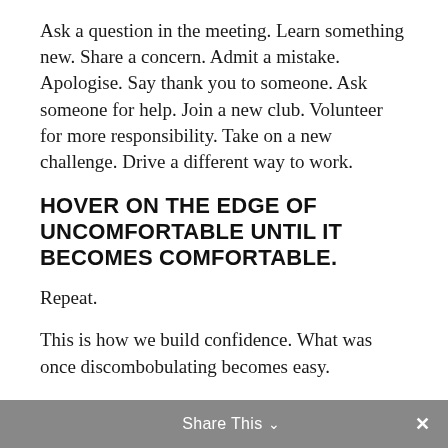Ask a question in the meeting. Learn something new. Share a concern. Admit a mistake. Apologise. Say thank you to someone. Ask someone for help. Join a new club. Volunteer for more responsibility. Take on a new challenge. Drive a different way to work.
HOVER ON THE EDGE OF UNCOMFORTABLE UNTIL IT BECOMES COMFORTABLE.
Repeat.
This is how we build confidence. What was once discombobulating becomes easy.
Here are some mental frames to help embed this principle.
Share This ∨  ×